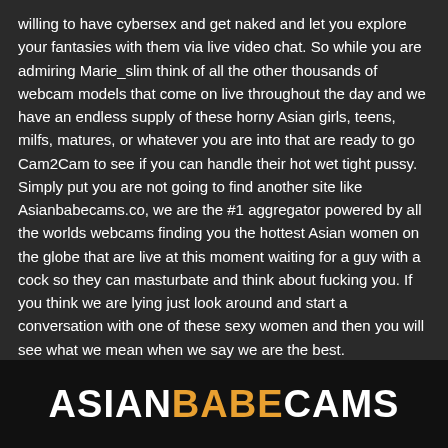willing to have cybersex and get naked and let you explore your fantasies with them via live video chat. So while you are admiring Marie_slim think of all the other thousands of webcam models that come on live throughout the day and we have an endless supply of these horny Asian girls, teens, milfs, matures, or whatever you are into that are ready to go Cam2Cam to see if you can handle their hot wet tight pussy. Simply put you are not going to find another site like Asianbabecams.co, we are the #1 aggregator powered by all the worlds webcams finding you the hottest Asian women on the globe that are live at this moment waiting for a guy with a cock so they can masturbate and think about fucking you. If you think we are lying just look around and start a conversation with one of these sexy women and then you will see what we mean when we say we are the best.
ASIAN BABE CAMS